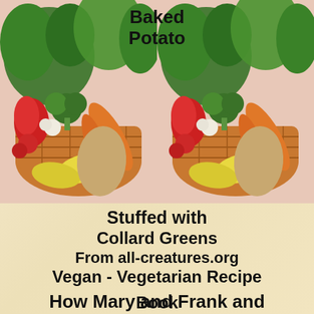[Figure (illustration): Two side-by-side vegetable basket illustrations with colorful produce including broccoli, carrots, red peppers, squash on a light background]
Baked Potato
Stuffed with Collard Greens
From all-creatures.org
Vegan - Vegetarian Recipe Book
How Mary and Frank and